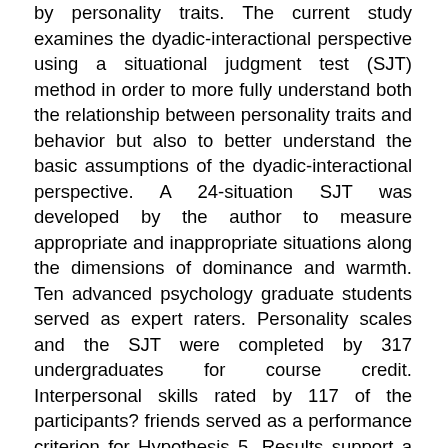by personality traits. The current study examines the dyadic-interactional perspective using a situational judgment test (SJT) method in order to more fully understand both the relationship between personality traits and behavior but also to better understand the basic assumptions of the dyadic-interactional perspective. A 24-situation SJT was developed by the author to measure appropriate and inappropriate situations along the dimensions of dominance and warmth. Ten advanced psychology graduate students served as expert raters. Personality scales and the SJT were completed by 317 undergraduates for course credit. Interpersonal skills rated by 117 of the participants? friends served as a performance criterion for Hypothesis 5. Results support a congruence effect where the fit between response and trait warmth has a positive effect on judgments of behavioral effectiveness. Although a quadratic implicit trait policy effect was observed, results did not support a congruence effect for dominance. Interpersonal rigidity was shown to moderate the effect of both dominant and warm responses but was not shown to moderate the effect of traits. Complementarity hypotheses were not supported, likely due to range restriction of analyzed situations. Exploratory analyses revealed effects in support of interpersonal theory. Situations and responses influenced perceived behavioral effectiveness in accordance with the propositions of interpersonal